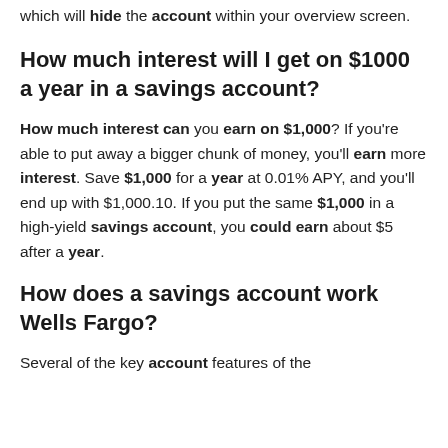which will hide the account within your overview screen.
How much interest will I get on $1000 a year in a savings account?
How much interest can you earn on $1,000? If you're able to put away a bigger chunk of money, you'll earn more interest. Save $1,000 for a year at 0.01% APY, and you'll end up with $1,000.10. If you put the same $1,000 in a high-yield savings account, you could earn about $5 after a year.
How does a savings account work Wells Fargo?
Several of the key account features of the